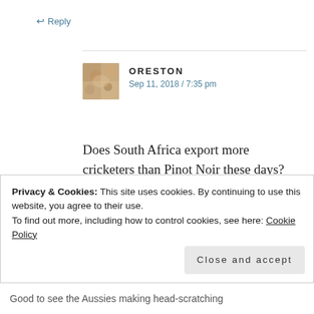↩ Reply
[Figure (photo): Avatar image of user Oreston, showing a close-up texture pattern in brown/beige tones]
ORESTON
Sep 11, 2018 / 7:35 pm
Does South Africa export more cricketers than Pinot Noir these days?
★ Like
↩ Reply
Privacy & Cookies: This site uses cookies. By continuing to use this website, you agree to their use.
To find out more, including how to control cookies, see here: Cookie Policy
Close and accept
Good to see the Aussies making head-scratching